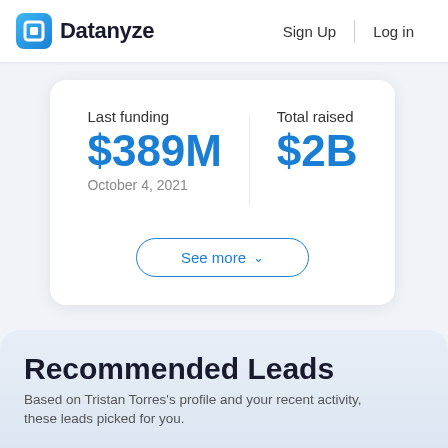Datanyze   Sign Up   Log in
Last funding
$389M
October 4, 2021
Total raised
$2B
See more
Recommended Leads
Based on Tristan Torres's profile and your recent activity, these leads picked for you.